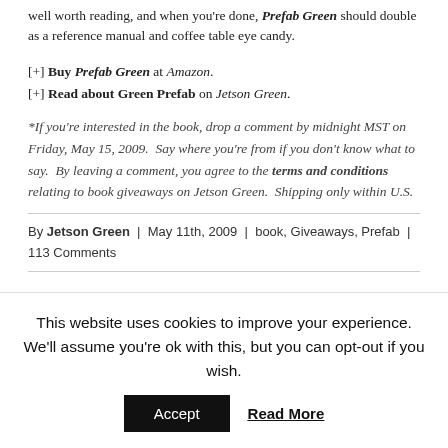well worth reading, and when you're done, Prefab Green should double as a reference manual and coffee table eye candy.
[+] Buy Prefab Green at Amazon.
[+] Read about Green Prefab on Jetson Green.
*If you're interested in the book, drop a comment by midnight MST on Friday, May 15, 2009. Say where you're from if you don't know what to say. By leaving a comment, you agree to the terms and conditions relating to book giveaways on Jetson Green. Shipping only within U.S.
By Jetson Green | May 11th, 2009 | book, Giveaways, Prefab | 113 Comments
This website uses cookies to improve your experience. We'll assume you're ok with this, but you can opt-out if you wish.